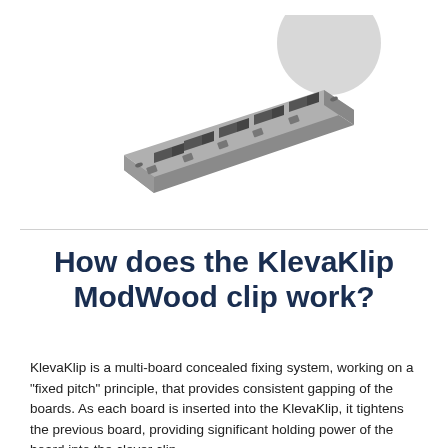[Figure (illustration): Isometric illustration of a KlevaKlip ModWood clip — a long horizontal metal rail with multiple rectangular slots/clips, shown at an angle with a grey circular element in the upper right.]
How does the KlevaKlip ModWood clip work?
KlevaKlip is a multi-board concealed fixing system, working on a "fixed pitch" principle, that provides consistent gapping of the boards. As each board is inserted into the KlevaKlip, it tightens the previous board, providing significant holding power of the board into the clever clip.